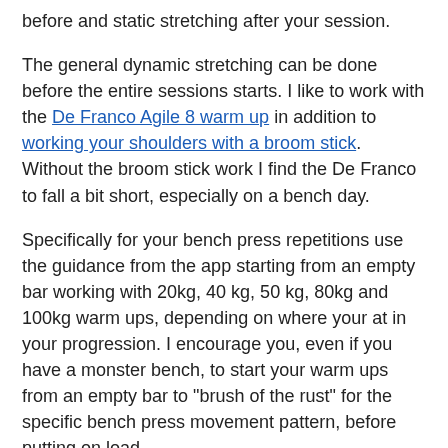before and static stretching after your session.
The general dynamic stretching can be done before the entire sessions starts. I like to work with the De Franco Agile 8 warm up in addition to working your shoulders with a broom stick. Without the broom stick work I find the De Franco to fall a bit short, especially on a bench day.
Specifically for your bench press repetitions use the guidance from the app starting from an empty bar working with 20kg, 40 kg, 50 kg, 80kg and 100kg warm ups, depending on where your at in your progression. I encourage you, even if you have a monster bench, to start your warm ups from an empty bar to "brush of the rust" for the specific bench press movement pattern, before putting on load.
The warm up should be conducted as if you were doing your hardest set. Stay fully focused, rest the bar on your chest (more on that later) and drive it out with full force in a controlled way. Lifting light weight like heavy weights will